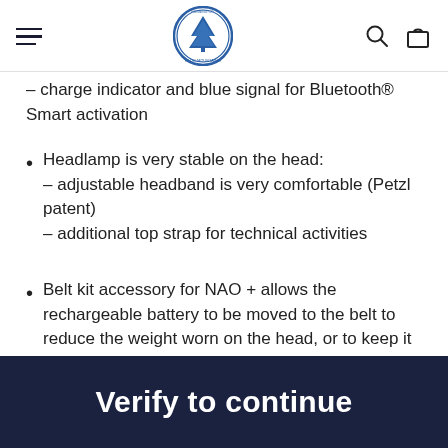Blue Mountains Running Co. navigation bar
– charge indicator and blue signal for Bluetooth® Smart activation
Headlamp is very stable on the head: – adjustable headband is very comfortable (Petzl patent) – additional top strap for technical activities
Belt kit accessory for NAO + allows the rechargeable battery to be moved to the belt to reduce the weight worn on the head, or to keep it warm in winter
Verify to continue